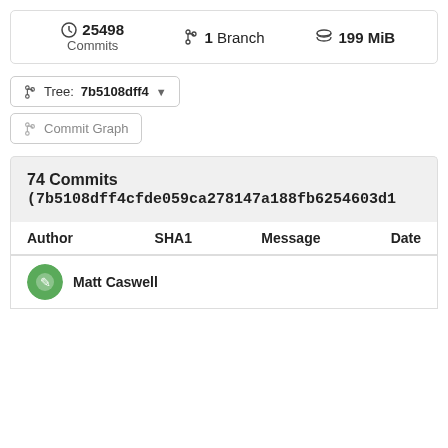25498 Commits  1 Branch  199 MiB
Tree: 7b5108dff4 ▾
Commit Graph
74 Commits
(7b5108dff4cfde059ca278147a188fb6254603d1
| Author | SHA1 | Message | Date |
| --- | --- | --- | --- |
Matt Caswell